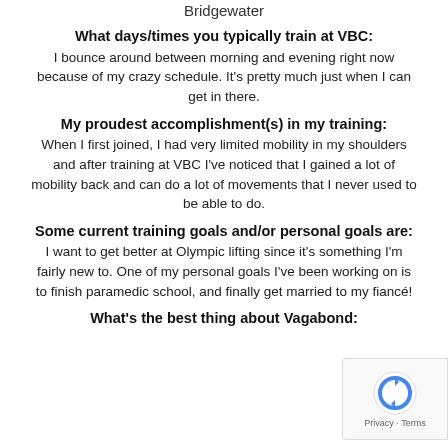Bridgewater
What days/times you typically train at VBC:
I bounce around between morning and evening right now because of my crazy schedule. It's pretty much just when I can get in there.
My proudest accomplishment(s) in my training:
When I first joined, I had very limited mobility in my shoulders and after training at VBC I've noticed that I gained a lot of mobility back and can do a lot of movements that I never used to be able to do.
Some current training goals and/or personal goals are:
I want to get better at Olympic lifting since it's something I'm fairly new to. One of my personal goals I've been working on is to finish paramedic school, and finally get married to my fiancé!
What's the best thing about Vagabond: